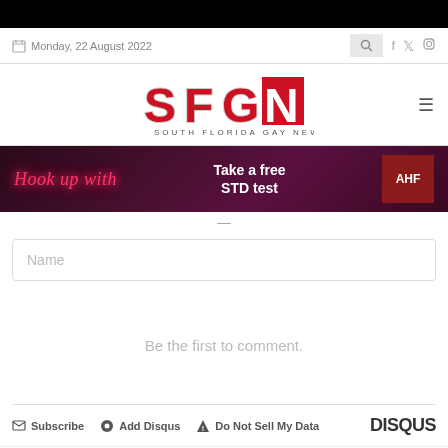Monday, 22 August 2022
[Figure (logo): SFGN South Florida Gay News logo]
[Figure (infographic): Advertisement banner: Hook up with - Take a free STD test - AHF]
Name (input field)
Be the first to comment.
Subscribe | Add Disqus | Do Not Sell My Data | DISQUS
BLOG COMMENTS POWERED BY DISQUS